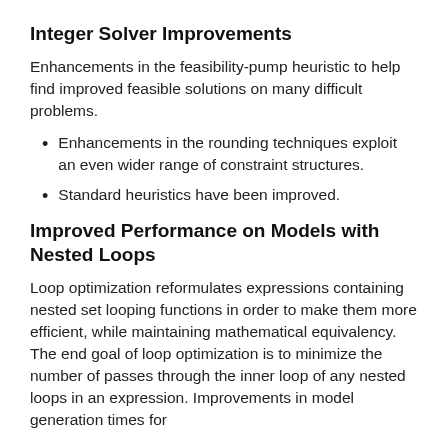Integer Solver Improvements
Enhancements in the feasibility-pump heuristic to help find improved feasible solutions on many difficult problems.
Enhancements in the rounding techniques exploit an even wider range of constraint structures.
Standard heuristics have been improved.
Improved Performance on Models with Nested Loops
Loop optimization reformulates expressions containing nested set looping functions in order to make them more efficient, while maintaining mathematical equivalency. The end goal of loop optimization is to minimize the number of passes through the inner loop of any nested loops in an expression. Improvements in model generation times for